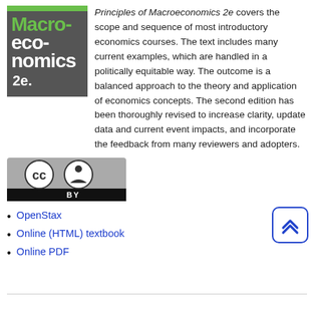[Figure (illustration): Book cover for Principles of Macroeconomics 2e: dark gray background with green and white text reading 'Macro-economics 2e.']
Principles of Macroeconomics 2e covers the scope and sequence of most introductory economics courses. The text includes many current examples, which are handled in a politically equitable way. The outcome is a balanced approach to the theory and application of economics concepts. The second edition has been thoroughly revised to increase clarity, update data and current event impacts, and incorporate the feedback from many reviewers and adopters.
[Figure (logo): Creative Commons CC BY license badge: gray rectangle with CC and person icons and 'BY' text in black bar]
OpenStax
Online (HTML) textbook
Online PDF